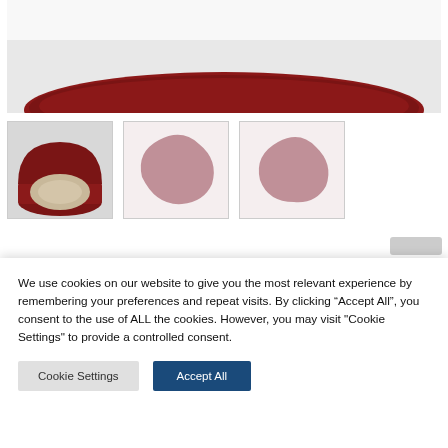[Figure (photo): Top portion of a product photo showing a dark red plate or dish on a white background, partially cropped at the top]
[Figure (photo): Thumbnail 1: An open dark red ring box with cream/beige interior]
[Figure (photo): Thumbnail 2: A pinkish-mauve organic blob shape (gemstone face-up view) on white background]
[Figure (photo): Thumbnail 3: A smaller pinkish-mauve organic blob shape (gemstone side view) on white background]
We use cookies on our website to give you the most relevant experience by remembering your preferences and repeat visits. By clicking “Accept All”, you consent to the use of ALL the cookies. However, you may visit "Cookie Settings" to provide a controlled consent.
Cookie Settings
Accept All